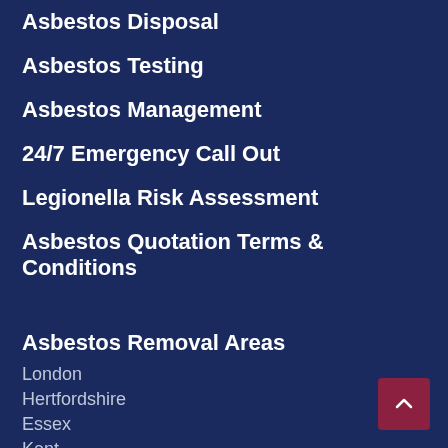Asbestos Disposal
Asbestos Testing
Asbestos Management
24/7 Emergency Call Out
Legionella Risk Assessment
Asbestos Quotation Terms & Conditions
Asbestos Removal Areas
London
Hertfordshire
Essex
Kent
Surrey